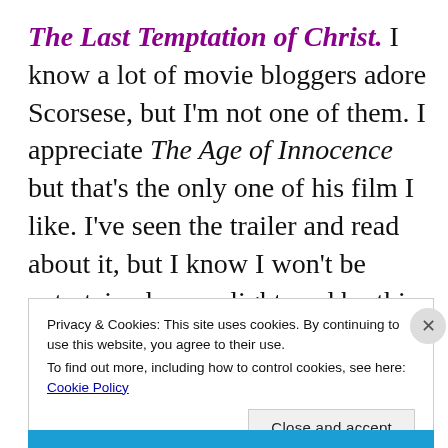The Last Temptation of Christ. I know a lot of movie bloggers adore Scorsese, but I'm not one of them. I appreciate The Age of Innocence but that's the only one of his film I like. I've seen the trailer and read about it, but I know I won't be entertained nor enlightened by this. Whether the director meant to do so or not, I find the whole idea utterly blasphemous.
Privacy & Cookies: This site uses cookies. By continuing to use this website, you agree to their use. To find out more, including how to control cookies, see here: Cookie Policy
Close and accept